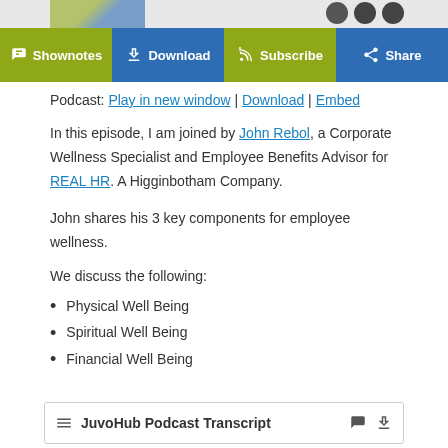[Figure (screenshot): Top navigation bar with Shownotes, Download, Subscribe, Share buttons in olive and blue colors]
Podcast: Play in new window | Download | Embed
In this episode, I am joined by John Rebol, a Corporate Wellness Specialist and Employee Benefits Advisor for REAL HR. A Higginbotham Company.
John shares his 3 key components for employee wellness.
We discuss the following:
Physical Well Being
Spiritual Well Being
Financial Well Being
JuvoHub Podcast Transcript